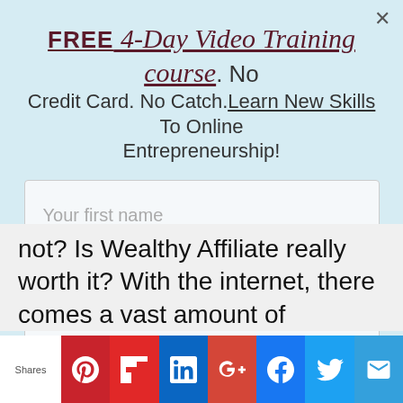FREE 4-Day Video Training course. No Credit Card. No Catch. Learn New Skills To Online Entrepreneurship!
[Figure (other): Email opt-in form with first name field, email address field, and Send me the guide button]
not? Is Wealthy Affiliate really worth it? With the internet, there comes a vast amount of
[Figure (other): Social share bar with Pinterest, Flipboard, LinkedIn, Google+, Facebook, Twitter, and mail icons. Label reads Shares.]